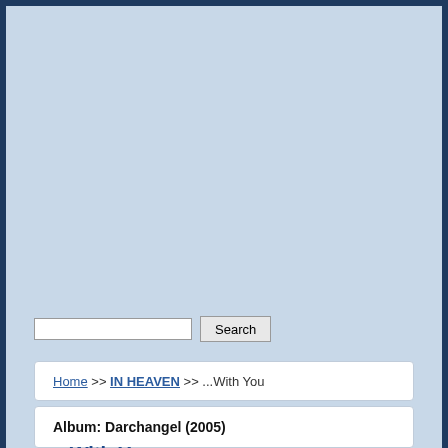Home >> IN HEAVEN >> ...With You
Album: Darchangel (2005)
...With You